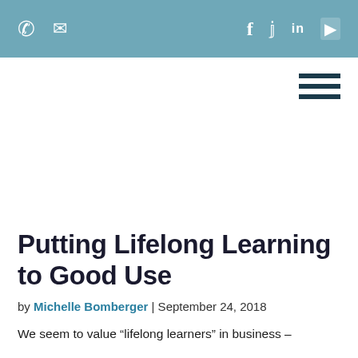☎ ✉  f  𝕏  in  ▶
[Figure (other): Hamburger menu icon (three horizontal dark teal lines) in upper right of content area]
Putting Lifelong Learning to Good Use
by Michelle Bomberger | September 24, 2018
We seem to value "lifelong learners" in business –